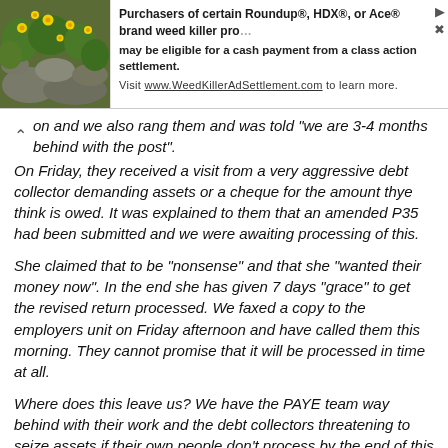[Figure (photo): Advertisement banner with photo of yellow flowers on rocks and text about Roundup weed killer class action settlement]
on and we also rang them and was told "we are 3-4 months behind with the post".
On Friday, they received a visit from a very aggressive debt collector demanding assets or a cheque for the amount thye think is owed. It was explained to them that an amended P35 had been submitted and we were awaiting processing of this.
She claimed that to be "nonsense" and that she "wanted their money now". In the end she has given 7 days "grace" to get the revised return processed. We faxed a copy to the employers unit on Friday afternoon and have called them this morning. They cannot promise that it will be processed in time at all.
Where does this leave us? We have the PAYE team way behind with their work and the debt collectors threatening to seize assets if their own people don't process by the end of this week!